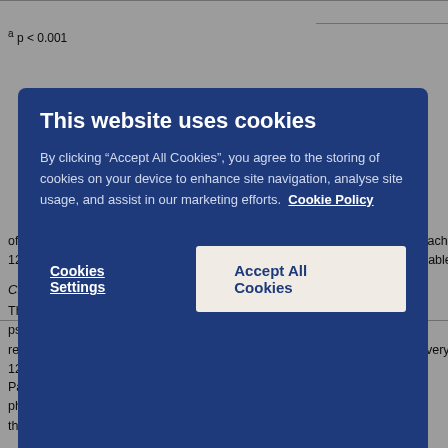a p < 0.001
This website uses cookies — cookie consent modal overlay on a medical document page about ustekinumab dosage and paediatric efficacy study (CADM). Cookie Policy link present. Buttons: Cookies Settings, Accept All Cookies.
of the recommended dosage group in which a modest loss of efficacy was each 12 week dosing interval. The safety profiles of the recommended do comparable.
Children (6-11 years)
The efficacy of ustekinumab was studied in 44 paediatric patients aged 6 psoriasis in an open label, single-arm, multicenter, phase 3, study (CADM recommended dose of ustekinumab (see section 4.2; n = 44) by subcutan every 12 week (q12w) dosing.
Patients with PASI ≥ 12, PGA ≥ 3 and BSA involvement of at least 10%, w phototherapy, were eligible for the study. Approximately 43% of the patien therapy or phototherapy. Approximately 5% of the patients had prior expos